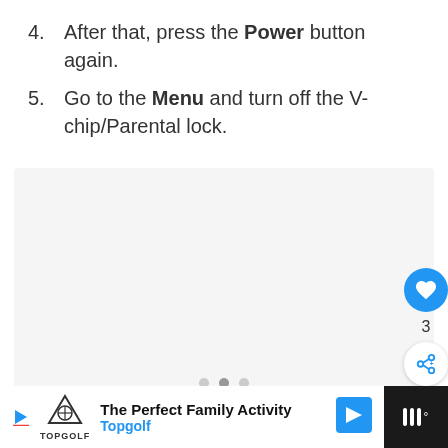4. After that, press the Power button again.
5. Go to the Menu and turn off the V-chip/Parental lock.
[Figure (other): Empty image carousel placeholder with three navigation dots at the bottom. A blue circular like/heart button, a count of 3, and a share button appear on the right side.]
[Figure (other): Advertisement bar at the bottom: Topgolf 'The Perfect Family Activity' ad with play button, logo, text, and navigation arrow icon on a white background, flanked by dark side panels with a menu icon.]